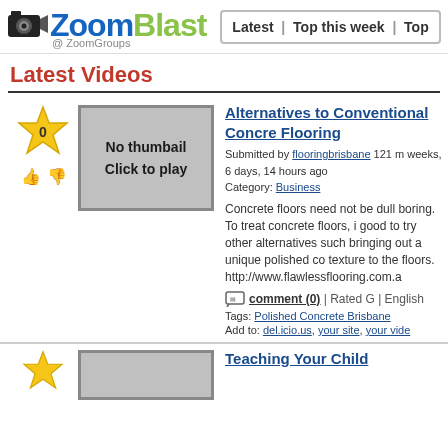[Figure (logo): ZoomBlast logo with camera icon and @ ZoomGroups subtitle]
Latest | Top this week | Top
Latest Videos
[Figure (illustration): Star badge with 0 score and thumbs up/down icons]
[Figure (illustration): No thumbnail - Click to play placeholder box]
Alternatives to Conventional Concrete Flooring
Submitted by flooringbrisbane 121 m weeks, 6 days, 14 hours ago Category: Business
Concrete floors need not be dull boring. To treat concrete floors, it good to try other alternatives such bringing out a unique polished co texture to the floors. http://www.flawlessflooring.com.a
comment (0) | Rated G | English
Tags: Polished Concrete Brisbane
Add to: del.icio.us, your site, your vide
Teaching Your Child